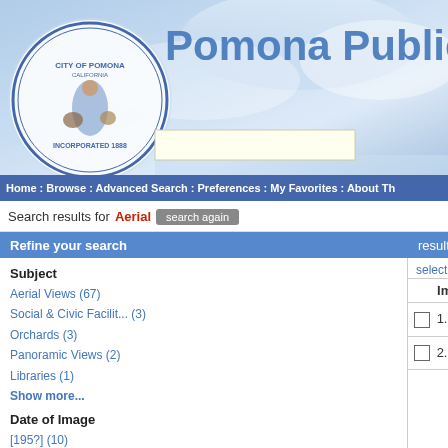[Figure (screenshot): Pomona Public Library website header with city seal/logo on the left and 'Pomona Public Lib' text on blue gradient background]
Home : Browse : Advanced Search : Preferences : My Favorites : About Th
Search results for Aerial  [search again button]
Refine your search
results 1-20 of 70 item(s)
Subject
Aerial Views (67)
Social & Civic Facilit... (3)
Orchards (3)
Panoramic Views (2)
Libraries (1)
Show more...
Date of Image
[195?] (10)
1956 (9)
4/5/1946 (4)
1953 (3)
[194?] (3)
Show more...
select all : clear all : add to favorites
| Image: | Title/Caption |
| --- | --- |
| 1. | Pomona Be... |
| 2. | Aerial view... |
Pomona Be